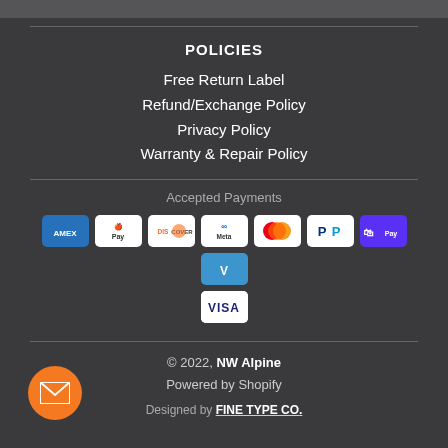POLICIES
Free Return Label
Refund/Exchange Policy
Privacy Policy
Warranty & Repair Policy
Accepted Payments
[Figure (logo): Payment method icons: Amex, Apple Pay, Discover, Meta Pay, Mastercard, PayPal, Shop Pay, Venmo, Visa]
© 2022, NW Alpine
Powered by Shopify
Designed by FINE TYPE CO.